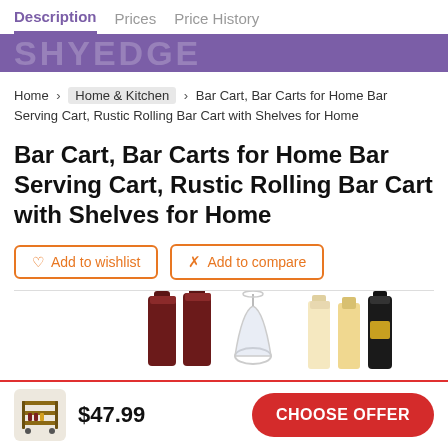Description   Prices   Price History
Home > Home & Kitchen > Bar Cart, Bar Carts for Home Bar Serving Cart, Rustic Rolling Bar Cart with Shelves for Home
Bar Cart, Bar Carts for Home Bar Serving Cart, Rustic Rolling Bar Cart with Shelves for Home
Add to wishlist   Add to compare
[Figure (photo): Product image strip showing wine bottles, a wine glass, and champagne/white wine bottles]
$47.99   CHOOSE OFFER